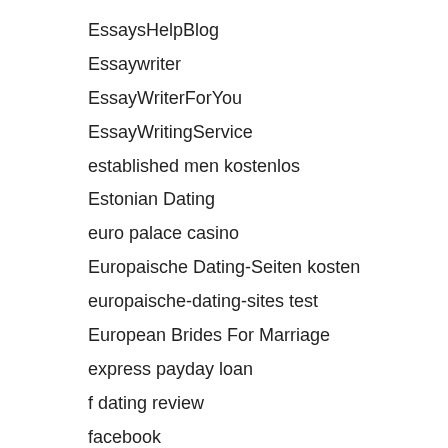EssaysHelpBlog
Essaywriter
EssayWriterForYou
EssayWritingService
established men kostenlos
Estonian Dating
euro palace casino
Europaische Dating-Seiten kosten
europaische-dating-sites test
European Brides For Marriage
express payday loan
f dating review
facebook
fafa slot machine
Fake Taxi Porn